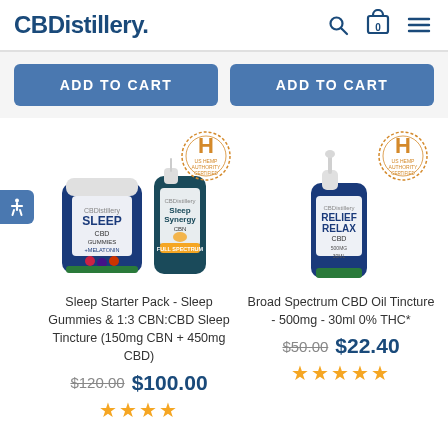CBDDistillery.
ADD TO CART (left)
ADD TO CART (right)
[Figure (photo): Sleep Starter Pack product photo showing Sleep CBD Gummies jar and Sleep Synergy CBN oil bottle, with US Hemp Authority Certified badge]
Sleep Starter Pack - Sleep Gummies & 1:3 CBN:CBD Sleep Tincture (150mg CBN + 450mg CBD)
$120.00  $100.00
[Figure (photo): Broad Spectrum CBD Oil Tincture bottle (blue dropper bottle) with US Hemp Authority Certified badge]
Broad Spectrum CBD Oil Tincture - 500mg - 30ml 0% THC*
$50.00  $22.40
★★★★★ (stars for right product)
★★★★ (stars for left product)